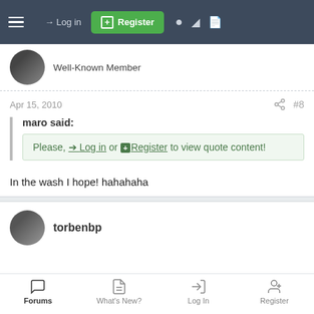Log in | Register
Well-Known Member
Apr 15, 2010  #8
maro said:
Please, Log in or Register to view quote content!
In the wash I hope! hahahaha
torbenbp
Forums  What's New?  Log In  Register